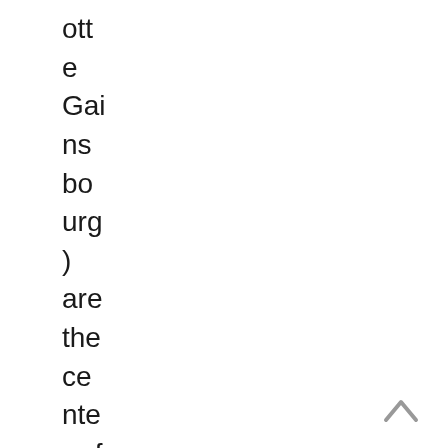ott
e
Gai
ns
bo
urg
)
are
the
ce
nte
r of
aaf
flu
ent
lov
[Figure (illustration): A small grey upward-pointing chevron/caret navigation arrow in the bottom-right corner]